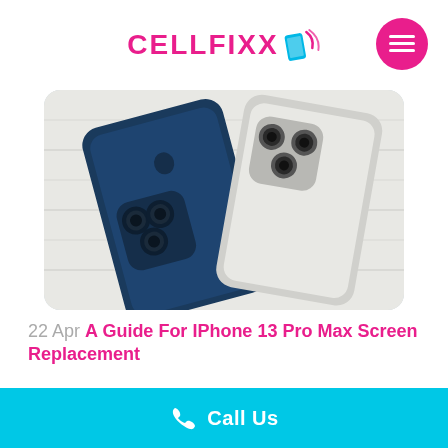[Figure (logo): CELLFIXX logo with magenta text and a small phone/signal icon]
[Figure (photo): Two iPhones (one dark blue/navy and one silver/white) photographed from the back showing triple camera systems, laid on a white wooden surface]
22 Apr A Guide For IPhone 13 Pro Max Screen Replacement
Posted at 11:08h in iPhone, repairs
[Figure (infographic): Cyan/turquoise bottom bar with a white phone icon and 'Call Us' text in white]